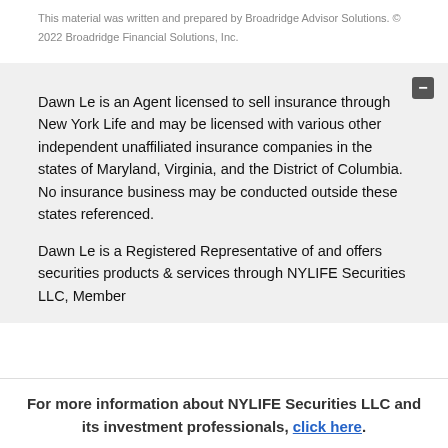This material was written and prepared by Broadridge Advisor Solutions. © 2022 Broadridge Financial Solutions, Inc.
Dawn Le is an Agent licensed to sell insurance through New York Life and may be licensed with various other independent unaffiliated insurance companies in the states of Maryland, Virginia, and the District of Columbia. No insurance business may be conducted outside these states referenced.
Dawn Le is a Registered Representative of and offers securities products & services through NYLIFE Securities LLC, Member
For more information about NYLIFE Securities LLC and its investment professionals, click here.